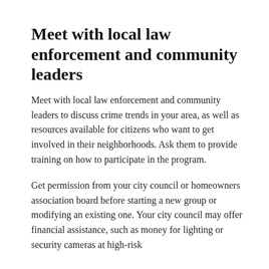Meet with local law enforcement and community leaders
Meet with local law enforcement and community leaders to discuss crime trends in your area, as well as resources available for citizens who want to get involved in their neighborhoods. Ask them to provide training on how to participate in the program.
Get permission from your city council or homeowners association board before starting a new group or modifying an existing one. Your city council may offer financial assistance, such as money for lighting or security cameras at high-risk